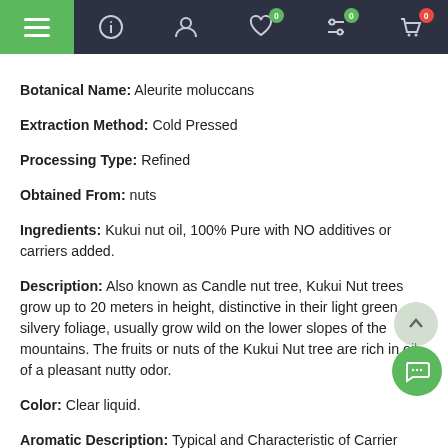Navigation bar with menu, info, account, wishlist (0), filter (0), cart (0)
Botanical Name: Aleurite moluccans
Extraction Method: Cold Pressed
Processing Type: Refined
Obtained From: nuts
Ingredients: Kukui nut oil, 100% Pure with NO additives or carriers added.
Description: Also known as Candle nut tree, Kukui Nut trees grow up to 20 meters in height, distinctive in their light green silvery foliage, usually grow wild on the lower slopes of the mountains. The fruits or nuts of the Kukui Nut tree are rich in oil of a pleasant nutty odor.
Color: Clear liquid.
Aromatic Description: Typical and Characteristic of Carrier Oils.
Common Uses: Kukui Nut oil is prized for it's rejuvinating and soothing effects on the skin. It has excellent moisturizing properties and quickly penetrates the skin. Often used for dry, sunburned, aged, chapped,